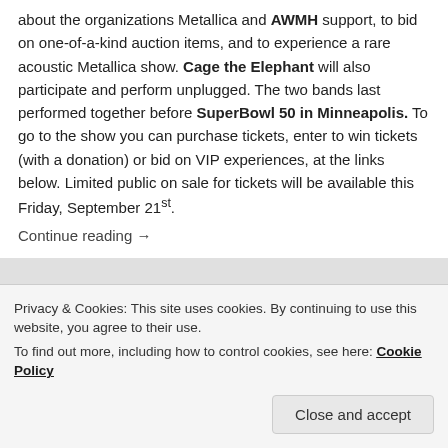about the organizations Metallica and AWMH support, to bid on one-of-a-kind auction items, and to experience a rare acoustic Metallica show. Cage the Elephant will also participate and perform unplugged. The two bands last performed together before SuperBowl 50 in Minneapolis. To go to the show you can purchase tickets, enter to win tickets (with a donation) or bid on VIP experiences, at the links below. Limited public on sale for tickets will be available this Friday, September 21st.
Continue reading →
[Figure (other): Social media share icons: Facebook (blue), Twitter (light blue), Reddit (orange), Share (orange)]
Privacy & Cookies: This site uses cookies. By continuing to use this website, you agree to their use.
To find out more, including how to control cookies, see here: Cookie Policy
Close and accept